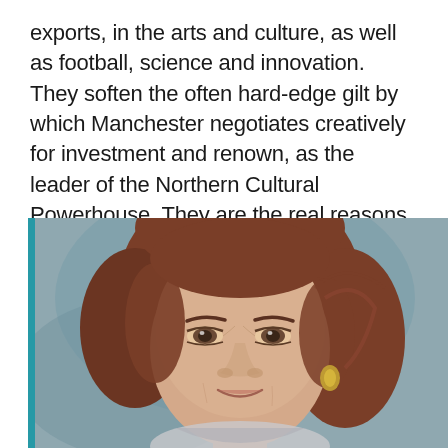exports, in the arts and culture, as well as football, science and innovation. They soften the often hard-edge gilt by which Manchester negotiates creatively for investment and renown, as the leader of the Northern Cultural Powerhouse. They are the real reasons that Manchester continues to attract creative talent to live, work, play and study here.
[Figure (photo): Portrait photograph of a woman with reddish-brown shoulder-length hair, smiling gently, wearing gold earrings, with a blue-grey background. A teal vertical bar appears on the left edge of the image.]